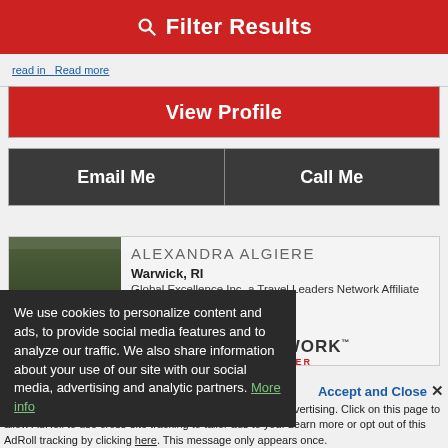Filter Results
read more
View Profile
Email Me
Call Me
ALEXANDRA ALGIERE
Warwick, RI
Global Excellence Inc, a Travel Leaders Network Affiliate
[Figure (photo): Profile photo of Alexandra Algiere]
[Figure (logo): Travel Leaders Network Member logo]
We use cookies to personalize content and ads, to provide social media features and to analyze our traffic. We also share information about your use of our site with our social media, advertising and analytic partners. More info
Accept and Close ×
Your browser settings do not allow cross-site tracking for advertising. Click on this page to allow AdRoll to use cross-site tracking to tailor ads to you. Learn more or opt out of this AdRoll tracking by clicking here. This message only appears once.